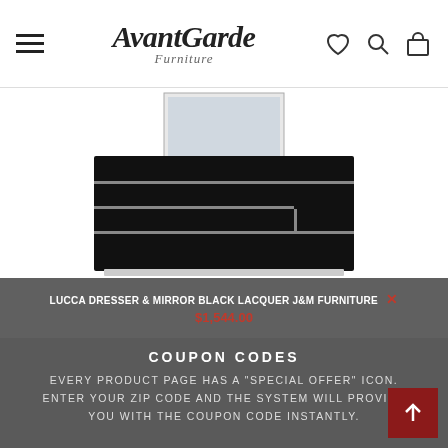AvantGarde Furniture
[Figure (photo): Black lacquer dresser with mirror, modern style with silver trim details, displayed against white background]
LUCCA DRESSER & MIRROR BLACK LACQUER J&M FURNITURE $1,544.00
COUPON CODES
EVERY PRODUCT PAGE HAS A "SPECIAL OFFER" ICON. ENTER YOUR ZIP CODE AND THE SYSTEM WILL PROVIDE YOU WITH THE COUPON CODE INSTANTLY.
[Figure (photo): Partial view of bedroom furniture, nightstand or small table with decorative items, dark grey background]